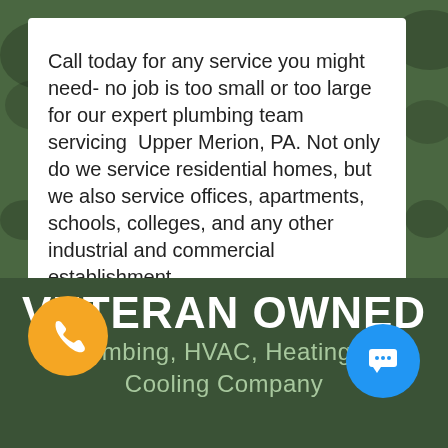Call today for any service you might need- no job is too small or too large for our expert plumbing team servicing  Upper Merion, PA. Not only do we service residential homes, but we also service offices, apartments, schools, colleges, and any other industrial and commercial establishment.
VETERAN OWNED
Plumbing, HVAC, Heating, & Cooling Company